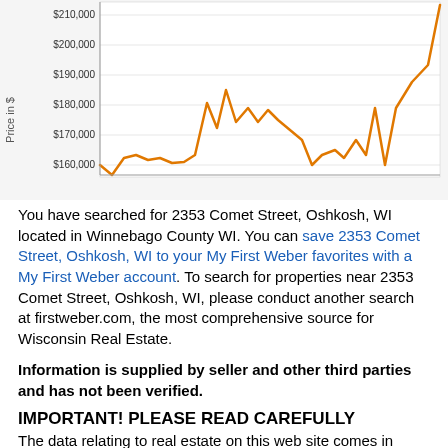[Figure (line-chart): Line chart showing property price trend over time, ranging from approximately $160,000 to $210,000+, with an orange line showing fluctuations and a strong upward trend at the right end.]
You have searched for 2353 Comet Street, Oshkosh, WI located in Winnebago County WI. You can save 2353 Comet Street, Oshkosh, WI to your My First Weber favorites with a My First Weber account. To search for properties near 2353 Comet Street, Oshkosh, WI, please conduct another search at firstweber.com, the most comprehensive source for Wisconsin Real Estate.
Information is supplied by seller and other third parties and has not been verified.
IMPORTANT! PLEASE READ CAREFULLY
The data relating to real estate on this web site comes in part from the Internet Data Exchange display programs of the SCWMLS, CWMLS, RANW, NORTHWOODS and METRO MLS. Real Estate listings from SCWMLS held by brokerage firms other than First Weber are marked with the SCWMLS icon and/or include the